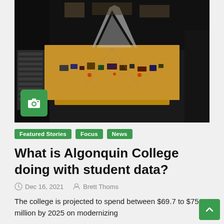[Figure (photo): Close-up photograph of electronic circuit board components and computer hardware, with a green camera icon badge in the lower-left corner.]
Featured Stories  Focus  News
What is Algonquin College doing with student data?
Dec 16, 2021   Brett Thoms
The college is projected to spend between $69.7 to $75.5 million by 2025 on modernizing